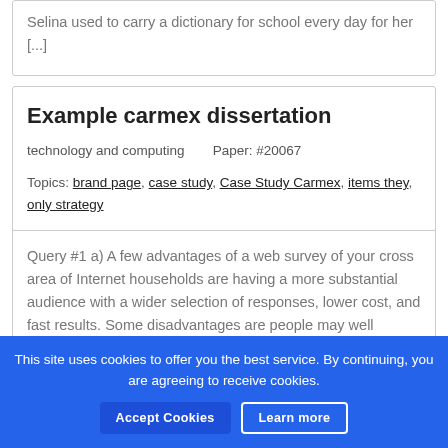Selina used to carry a dictionary for school every day for her [...]
Example carmex dissertation
technology and computing    Paper: #20067
Topics: brand page, case study, Case Study Carmex, items they, only strategy
Query #1 a) A few advantages of a web survey of your cross area of Internet households are having a more substantial audience with a wider selection of responses, lower cost, and fast results. Some disadvantages are people may well disregard the study, answers may be careless just get the promo or offer, surveys might [...]
This site uses cookies to offer you the best service. By continuing, you are agreeing to receive cookies.